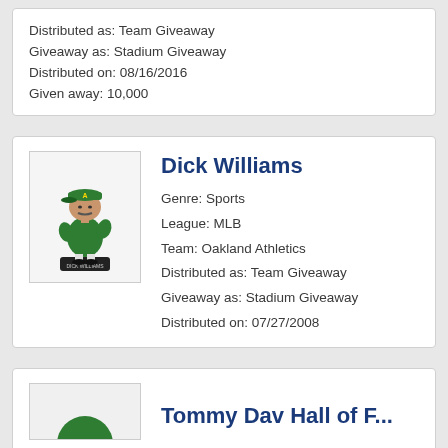Distributed as: Team Giveaway
Giveaway as: Stadium Giveaway
Distributed on: 08/16/2016
Given away: 10,000
Dick Williams
Genre: Sports
League: MLB
Team: Oakland Athletics
Distributed as: Team Giveaway
Giveaway as: Stadium Giveaway
Distributed on: 07/27/2008
[Figure (photo): Bobblehead figurine of Dick Williams in Oakland Athletics green uniform with hat, standing on a black base with name label]
Tommy Dav Hall of F...